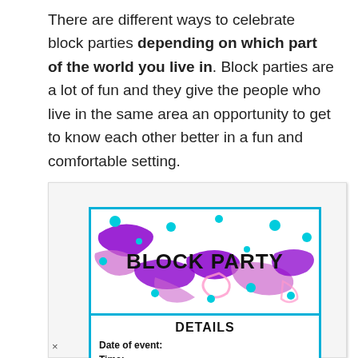There are different ways to celebrate block parties depending on which part of the world you live in. Block parties are a lot of fun and they give the people who live in the same area an opportunity to get to know each other better in a fun and comfortable setting.
[Figure (illustration): Block party flyer with decorative purple ribbons and teal/cyan dots, showing 'BLOCK PARTY' in bold text, a 'DETAILS' section below with fields for Date of event, Time, Address, and What to bring]